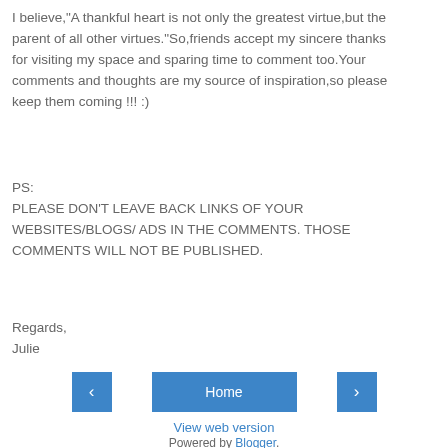I believe,"A thankful heart is not only the greatest virtue,but the parent of all other virtues."So,friends accept my sincere thanks for visiting my space and sparing time to comment too.Your comments and thoughts are my source of inspiration,so please keep them coming !!! :)
PS:
PLEASE DON'T LEAVE BACK LINKS OF YOUR WEBSITES/BLOGS/ ADS IN THE COMMENTS. THOSE COMMENTS WILL NOT BE PUBLISHED.
Regards,
Julie
Home
View web version
Powered by Blogger.